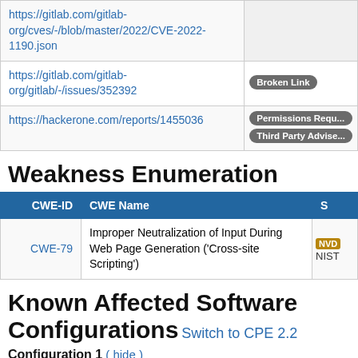| URL | Tag |
| --- | --- |
| https://gitlab.com/gitlab-org/cves/-/blob/master/2022/CVE-2022-1190.json | Vendor Advisory |
| https://gitlab.com/gitlab-org/gitlab/-/issues/352392 | Broken Link |
| https://hackerone.com/reports/1455036 | Permissions Required, Third Party Advisory |
Weakness Enumeration
| CWE-ID | CWE Name | S |
| --- | --- | --- |
| CWE-79 | Improper Neutralization of Input During Web Page Generation ('Cross-site Scripting') | NVD / NIST |
Known Affected Software Configurations
Switch to CPE 2.2
Configuration 1 ( hide )